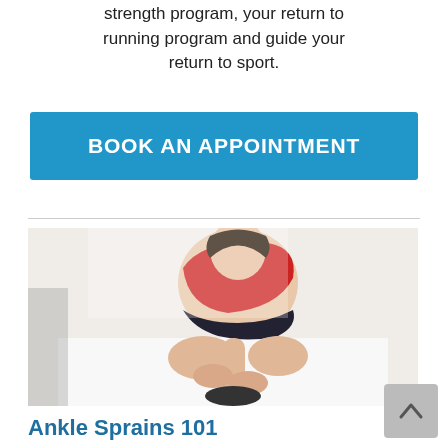strength program, your return to running program and guide your return to sport.
BOOK AN APPOINTMENT
[Figure (photo): A young woman in a red tank top sitting cross-legged, holding her ankle/lower leg, appears to be in pain from a sports injury.]
Ankle Sprains 101